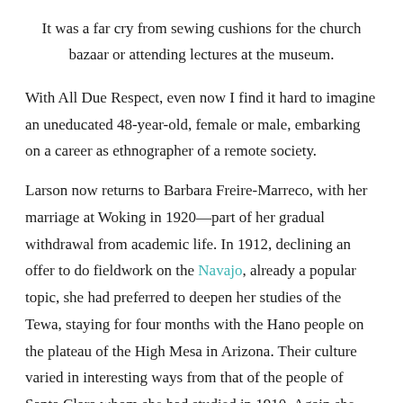It was a far cry from sewing cushions for the church bazaar or attending lectures at the museum.
With All Due Respect, even now I find it hard to imagine an uneducated 48-year-old, female or male, embarking on a career as ethnographer of a remote society.
Larson now returns to Barbara Freire-Marreco, with her marriage at Woking in 1920—part of her gradual withdrawal from academic life. In 1912, declining an offer to do fieldwork on the Navajo, already a popular topic, she had preferred to deepen her studies of the Tewa, staying for four months with the Hano people on the plateau of the High Mesa in Arizona. Their culture varied in interesting ways from that of the people of Santa Clara whom she had studied in 1910. Again she found it hard to gain their trust,